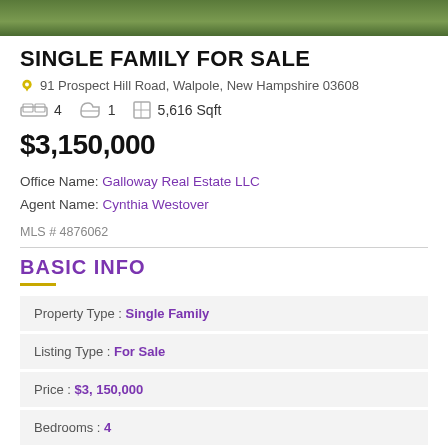[Figure (photo): Green foliage/trees photo strip at top of listing]
SINGLE FAMILY FOR SALE
91 Prospect Hill Road, Walpole, New Hampshire 03608
4  1  5,616 Sqft
$3,150,000
Office Name: Galloway Real Estate LLC
Agent Name: Cynthia Westover
MLS # 4876062
BASIC INFO
| Field | Value |
| --- | --- |
| Property Type : | Single Family |
| Listing Type : | For Sale |
| Price : | $3, 150,000 |
| Bedrooms : | 4 |